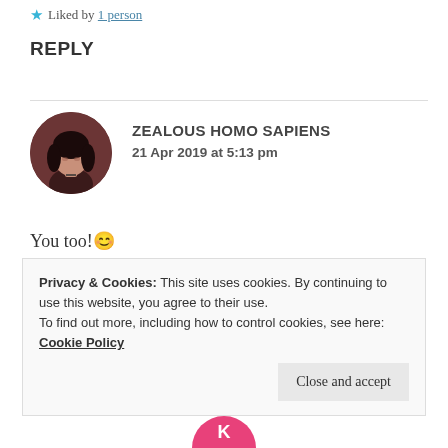★ Liked by 1 person
REPLY
ZEALOUS HOMO SAPIENS
21 Apr 2019 at 5:13 pm
[Figure (photo): Circular avatar photo of a person with dark hair]
You too!😊
★ Liked by 1 person
Privacy & Cookies: This site uses cookies. By continuing to use this website, you agree to their use.
To find out more, including how to control cookies, see here: Cookie Policy
Close and accept